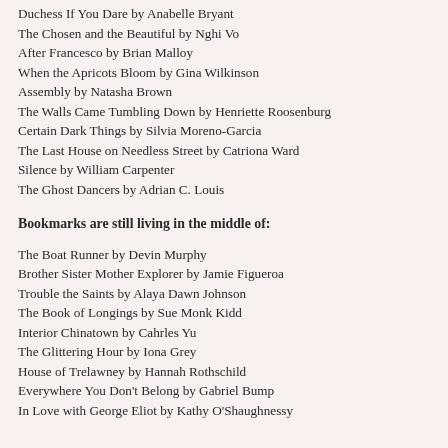Duchess If You Dare by Anabelle Bryant
The Chosen and the Beautiful by Nghi Vo
After Francesco by Brian Malloy
When the Apricots Bloom by Gina Wilkinson
Assembly by Natasha Brown
The Walls Came Tumbling Down by Henriette Roosenburg
Certain Dark Things by Silvia Moreno-Garcia
The Last House on Needless Street by Catriona Ward
Silence by William Carpenter
The Ghost Dancers by Adrian C. Louis
Bookmarks are still living in the middle of:
The Boat Runner by Devin Murphy
Brother Sister Mother Explorer by Jamie Figueroa
Trouble the Saints by Alaya Dawn Johnson
The Book of Longings by Sue Monk Kidd
Interior Chinatown by Cahrles Yu
The Glittering Hour by Iona Grey
House of Trelawney by Hannah Rothschild
Everywhere You Don't Belong by Gabriel Bump
In Love with George Eliot by Kathy O'Shaughnessy